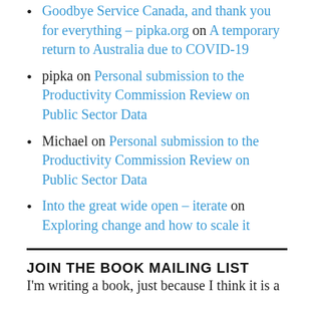Goodbye Service Canada, and thank you for everything – pipka.org on A temporary return to Australia due to COVID-19
pipka on Personal submission to the Productivity Commission Review on Public Sector Data
Michael on Personal submission to the Productivity Commission Review on Public Sector Data
Into the great wide open – iterate on Exploring change and how to scale it
JOIN THE BOOK MAILING LIST
I'm writing a book, just because I think it is a